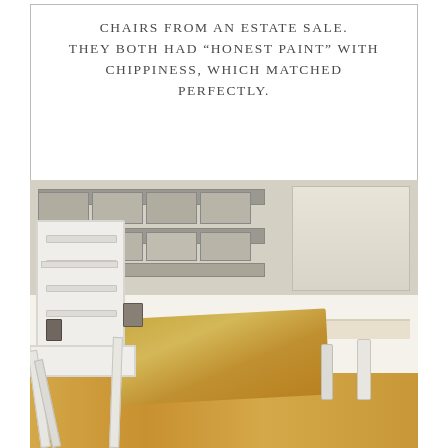CHAIRS FROM AN ESTATE SALE. THEY BOTH HAD "HONEST PAINT" WITH CHIPPINESS, WHICH MATCHED PERFECTLY.
[Figure (photo): Interior photo showing white chippy painted folding chairs at a farmhouse-style white dining table with a burlap runner, rustic shelving unit in the background holding pottery and ceramics, warm wood floors, and vintage decorative items.]